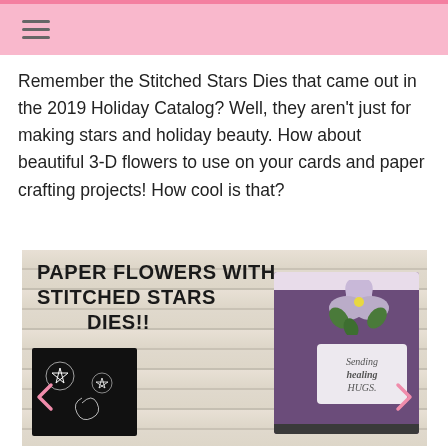Navigation header with hamburger menu
Remember the Stitched Stars Dies that came out in the 2019 Holiday Catalog? Well, they aren't just for making stars and holiday beauty.  How about beautiful 3-D flowers to use on your cards and paper crafting projects!  How cool is that?
[Figure (photo): Blog post image showing 'Paper Flowers with Stitched Stars Dies!!' title text over a white wood background, with a purple greeting card decorated with paper flowers and leaves, and a black mat with die-cut star designs. Navigation arrows visible on left and right sides.]